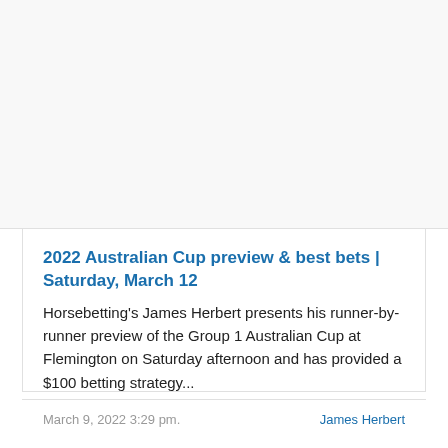2022 Australian Cup preview & best bets | Saturday, March 12
Horsebetting's James Herbert presents his runner-by-runner preview of the Group 1 Australian Cup at Flemington on Saturday afternoon and has provided a $100 betting strategy...
March 9, 2022 3:29 pm.    James Herbert